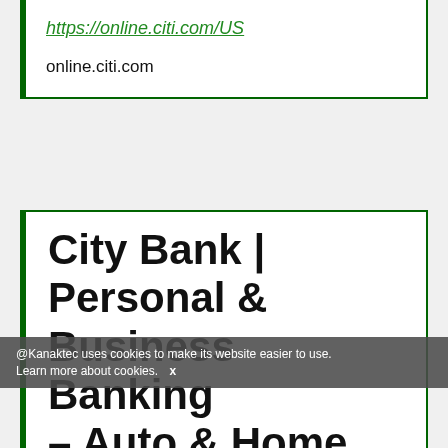https://online.citi.com/US
online.citi.com
City Bank | Personal & Business Banking – Auto & Home Loans
@Kanaktec uses cookies to make its website easier to use. Learn more about cookies. X